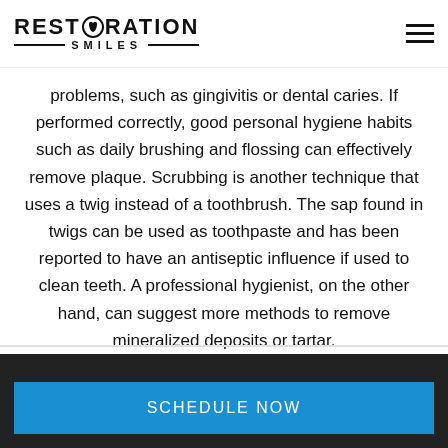RESTORATION SMILES
problems, such as gingivitis or dental caries. If performed correctly, good personal hygiene habits such as daily brushing and flossing can effectively remove plaque. Scrubbing is another technique that uses a twig instead of a toothbrush. The sap found in twigs can be used as toothpaste and has been reported to have an antiseptic influence if used to clean teeth. A professional hygienist, on the other hand, can suggest more methods to remove mineralized deposits or tartar.
SCHEDULE NOW